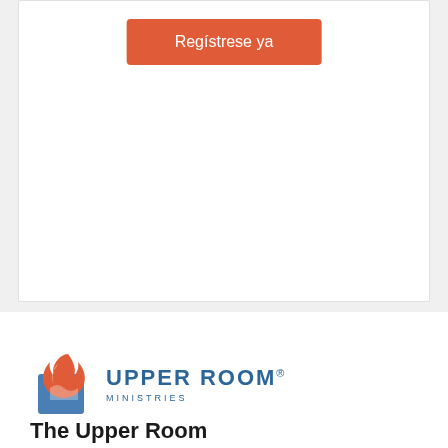[Figure (other): Orange rounded button labeled 'Regístrese ya' on a white card background]
[Figure (logo): Upper Room Ministries logo with flame icon and text 'UPPER ROOM MINISTRIES']
The Upper Room